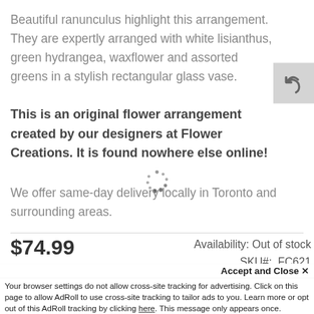Beautiful ranunculus highlight this arrangement. They are expertly arranged with white lisianthus, green hydrangea, waxflower and assorted greens in a stylish rectangular glass vase.
[Figure (illustration): Reply/undo arrow button icon in a grey square]
This is an original flower arrangement created by our designers at Flower Creations. It is found nowhere else online!
[Figure (illustration): Loading spinner dots animation]
We offer same-day delivery locally in Toronto and surrounding areas.
$74.99
Availability: Out of stock
SKU#: FC621
Accept and Close ✕
Your browser settings do not allow cross-site tracking for advertising. Click on this page to allow AdRoll to use cross-site tracking to tailor ads to you. Learn more or opt out of this AdRoll tracking by clicking here. This message only appears once.